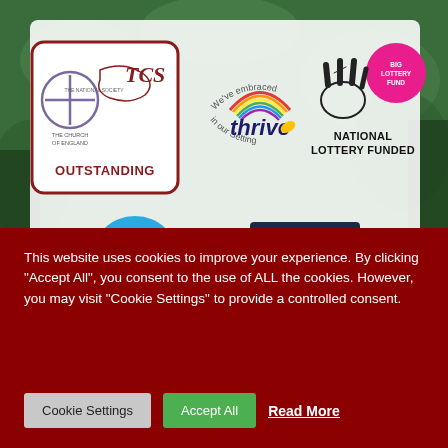[Figure (photo): Background photo of children outdoors in a green setting, partially visible behind logo overlays]
[Figure (logo): The Church of England / The National Society OUTSTANDING award logo - rounded rectangle with cross and 'TCS' text, red border, text 'THE CHURCH OF ENGLAND', 'THE NATIONAL SOCIETY', 'OUTSTANDING' in red bold]
[Figure (logo): We've embraced thrive in our Setting logo - circular text with rainbow colored 'thrive' text in the center]
[Figure (logo): National Lottery Funded logo - hand with crossed fingers icon and pink Big Lottery Fund circle, text 'NATIONAL LOTTERY FUNDED' in bold black]
[Figure (logo): Blue circular logo with white figure partially visible at bottom left]
[Figure (logo): Dark navy blue rectangular logo partially visible at bottom right]
This website uses cookies to improve your experience. By clicking "Accept All", you consent to the use of ALL the cookies. However, you may visit "Cookie Settings" to provide a controlled consent.
Cookie Settings
Accept All
Read More